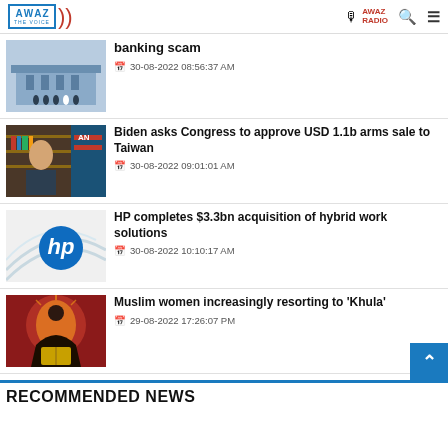AWAZ THE VOICE - AWAZ RADIO
banking scam
30-08-2022 08:56:37 AM
Biden asks Congress to approve USD 1.1b arms sale to Taiwan
30-08-2022 09:01:01 AM
HP completes $3.3bn acquisition of hybrid work solutions
30-08-2022 10:10:17 AM
Muslim women increasingly resorting to 'Khula'
29-08-2022 17:26:07 PM
RECOMMENDED NEWS